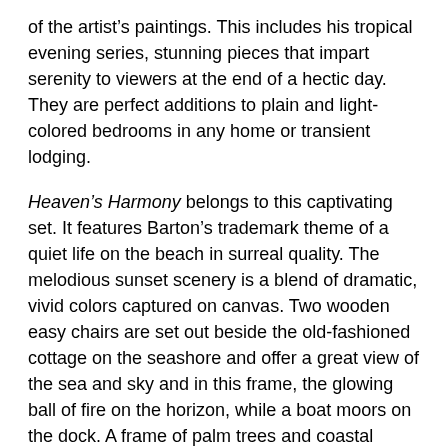of the artist's paintings. This includes his tropical evening series, stunning pieces that impart serenity to viewers at the end of a hectic day. They are perfect additions to plain and light-colored bedrooms in any home or transient lodging.
Heaven's Harmony belongs to this captivating set. It features Barton's trademark theme of a quiet life on the beach in surreal quality. The melodious sunset scenery is a blend of dramatic, vivid colors captured on canvas. Two wooden easy chairs are set out beside the old-fashioned cottage on the seashore and offer a great view of the sea and sky and in this frame, the glowing ball of fire on the horizon, while a boat moors on the dock. A frame of palm trees and coastal flowers, also Barton signatures, beguile the spirit like a lullaby.
This loose impressionistic artwork comes to you in a "Wavy" frame, another Barton signature, and gives the viewer a different perspective of the painting when viewed from different angles.